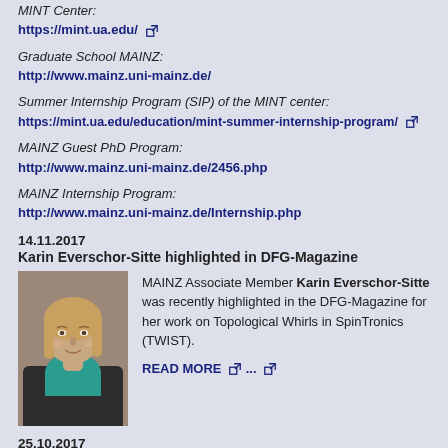MINT Center:
https://mint.ua.edu/
Graduate School MAINZ:
http://www.mainz.uni-mainz.de/
Summer Internship Program (SIP) of the MINT center:
https://mint.ua.edu/education/mint-summer-internship-program/
MAINZ Guest PhD Program:
http://www.mainz.uni-mainz.de/2456.php
MAINZ Internship Program:
http://www.mainz.uni-mainz.de/Internship.php
14.11.2017
Karin Everschor-Sitte highlighted in DFG-Magazine
MAINZ Associate Member Karin Everschor-Sitte was recently highlighted in the DFG-Magazine for her work on Topological Whirls in SpinTronics (TWIST).
READ MORE ...
[Figure (photo): Portrait photo of Karin Everschor-Sitte, a woman with blond hair wearing a teal/blue top]
25.10.2017
MAINZ Award 2016 goes to Jana Herzberger and Lalita Shaki Uribe Ordonez